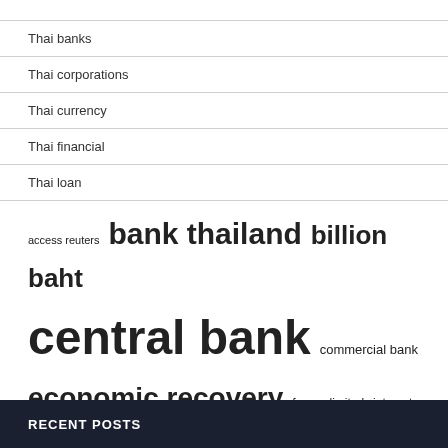Thai banks
Thai corporations
Thai currency
Thai financial
Thai loan
[Figure (other): Tag cloud with terms: access reuters, bank thailand (large), billion baht (large), central bank (very large), commercial bank, economic recovery (large), free unlimited, interest rate, reuters comregisterreporting, reuters trust, siam commercial, thai baht, thai banks, thomson reuters, united states (large)]
RECENT POSTS